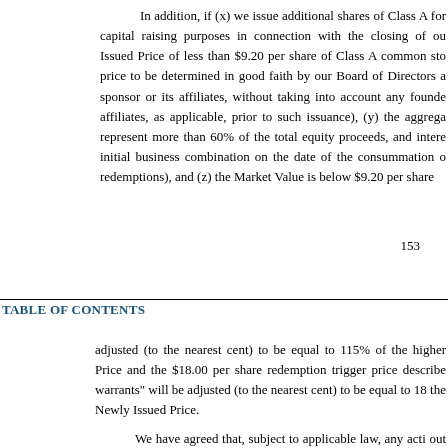In addition, if (x) we issue additional shares of Class A for capital raising purposes in connection with the closing of our Issued Price of less than $9.20 per share of Class A common sto price to be determined in good faith by our Board of Directors a sponsor or its affiliates, without taking into account any founde affiliates, as applicable, prior to such issuance), (y) the aggrega represent more than 60% of the total equity proceeds, and intere initial business combination on the date of the consummation o redemptions), and (z) the Market Value is below $9.20 per share
153
TABLE OF CONTENTS
adjusted (to the nearest cent) to be equal to 115% of the higher Price and the $18.00 per share redemption trigger price describe warrants" will be adjusted (to the nearest cent) to be equal to 18 the Newly Issued Price.
We have agreed that, subject to applicable law, any acti out of or relating in any way to the public warrant agreement w the State of New York or the United States District Court for the irrevocably submit to such jurisdiction, which jurisdiction will b proceeding or claim. See "Risk Factors—Risks Relating to our